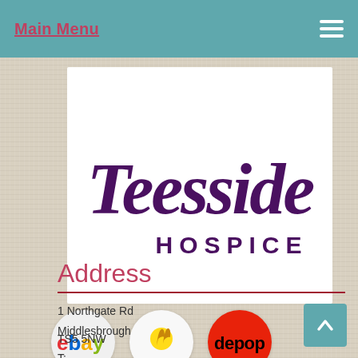Main Menu
[Figure (logo): Teesside Hospice logo — cursive purple 'Teesside' text above bold uppercase 'HOSPICE' in purple, on white background]
[Figure (logo): eBay circular logo on light grey background]
[Figure (logo): The National Lottery crossed fingers logo on white circular background]
[Figure (logo): Depop logo on red circular background]
Address
1 Northgate Rd
Middlesbrough
TS5 5NW
T: